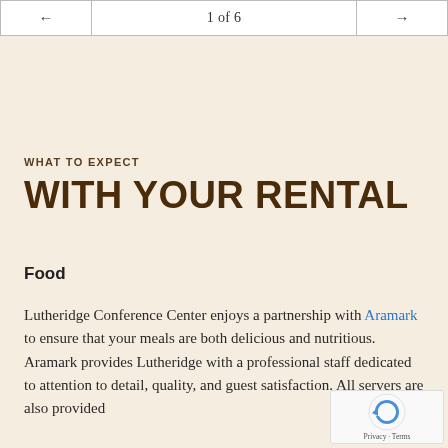← 1 of 6 →
WHAT TO EXPECT
WITH YOUR RENTAL
Food
Lutheridge Conference Center enjoys a partnership with Aramark to ensure that your meals are both delicious and nutritious. Aramark provides Lutheridge with a professional staff dedicated to attention to detail, quality, and guest satisfaction. All servers are also provided